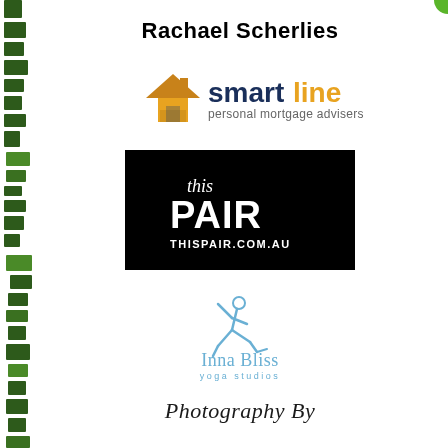[Figure (illustration): Green palm leaf decorative stripe on left edge of page]
Rachael Scherlies
[Figure (logo): Smartline personal mortgage advisers logo — orange house icon, 'smart' in dark blue bold, 'line' in orange bold, 'personal mortgage advisers' in gray below]
[Figure (logo): This Pair logo — black square background with 'this' in white italic script, 'PAIR' in large white bold text, 'THISPAIR.COM.AU' in white caps below]
[Figure (logo): Inna Bliss yoga studios logo — blue figure in yoga warrior pose, 'Inna Bliss' in blue medium weight, 'yoga studios' in small spaced blue caps below]
[Figure (logo): Photography By (partially visible) — decorative italic script text at bottom of page]